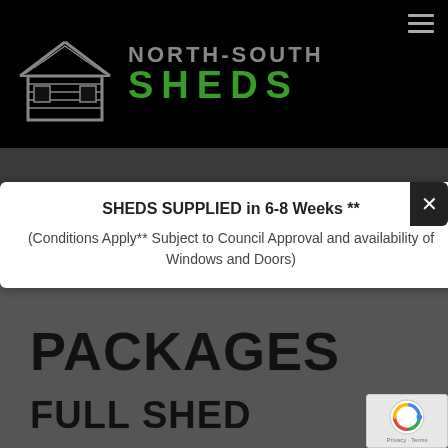[Figure (logo): North-South Sheds logo: shed/house silhouette icon on left, 'NORTH-SOUTH' in grey and 'SHEDS' in green large letters on right, on black background]
SHEDS SUPPLIED in 6-8 Weeks **
(Conditions Apply** Subject to Council Approval and availability of Windows and Doors)
PACKAGES
FULL SHED